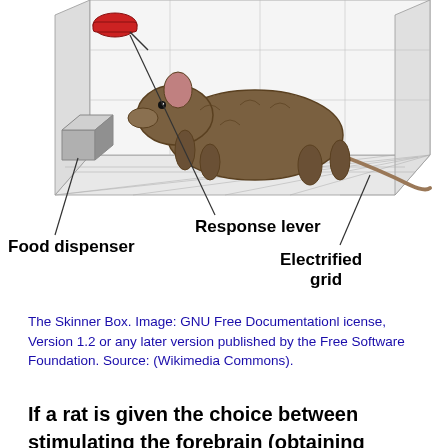[Figure (illustration): Diagram of a Skinner Box showing a rat inside a chamber with a response lever, food dispenser, and electrified grid, with labeled callout lines pointing to each component.]
The Skinner Box. Image: GNU Free Documentation license, Version 1.2 or any later version published by the Free Software Foundation. Source: (Wikimedia Commons).
If a rat is given the choice between stimulating the forebrain (obtaining